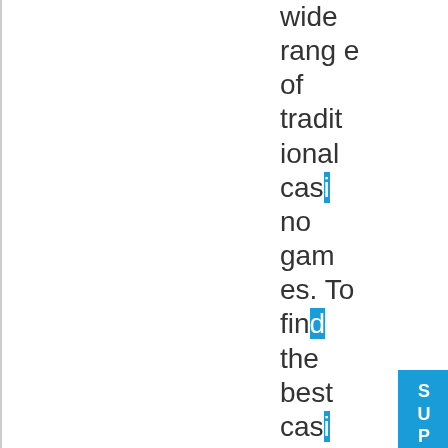wide range of traditional casino games. To find the best casino...ed game, so ensu
[Figure (other): Blue vertical SUPPORT tab with life-ring icon on the right edge of the page]